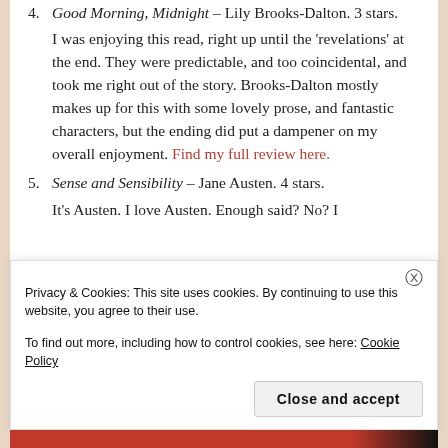4. Good Morning, Midnight – Lily Brooks-Dalton. 3 stars. I was enjoying this read, right up until the 'revelations' at the end. They were predictable, and too coincidental, and took me right out of the story. Brooks-Dalton mostly makes up for this with some lovely prose, and fantastic characters, but the ending did put a dampener on my overall enjoyment. Find my full review here.
5. Sense and Sensibility – Jane Austen. 4 stars. It's Austen. I love Austen. Enough said? No? I
Privacy & Cookies: This site uses cookies. By continuing to use this website, you agree to their use. To find out more, including how to control cookies, see here: Cookie Policy